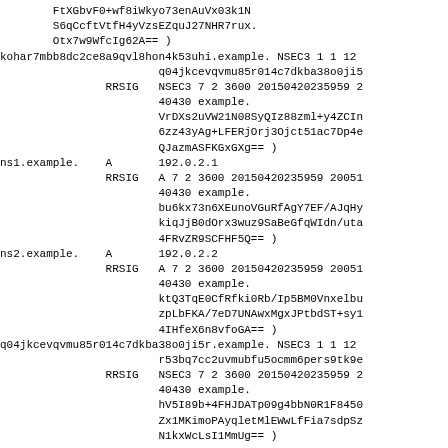FtXGbvF0+wf8iWkyo73enAuVx03k1N S6qCcftVtfH4yVzsEZquJ27NHR7rux. Otx7w9WfcIg62A== )
kohar7mbb8dc2ce8a9qvl8hon4k53uhi.example. NSEC3 1 1 12
                        q04jkcevqvmu85r014c7dkba38o0ji5
                RRSIG   NSEC3 7 2 3600 20150420235959 2
                        40430 example.
                        VrDXs2uVW21N08SyQIz88zml+y4ZCIn
                        6zz43yAg+LFERjOrj3Ojct51ac7Dp4e
                        QJazmASFKGxGXg== )
ns1.example.    A       192.0.2.1
                RRSIG   A 7 2 3600 20150420235959 20051
                        40430 example.
                        bu6kx73n6XEunoVGuRfAgY7EF/AJqHy
                        kiqJjB0dOrx3wuz9SaBeGfqWIdn/uta
                        4FRvZR9SCFHF5Q== )
ns2.example.    A       192.0.2.2
                RRSIG   A 7 2 3600 20150420235959 20051
                        40430 example.
                        ktQ3TqE0CfRfki0Rb/Ip5BM0Vnxelbu
                        zpLbFKA/7eD7UNAwxMgxJPtbdST+sy1
                        4IHfeX6n8vfoGA== )
q04jkcevqvmu85r014c7dkba38o0ji5r.example. NSEC3 1 1 12
                        r53bq7cc2uvmubfu5ocmm6pers9tk9e
                RRSIG   NSEC3 7 2 3600 20150420235959 2
                        40430 example.
                        hV5I89b+4FHJDATp09g4bbN0R1F8450
                        Zx1MKimoPAyqletMlEWwLfFia7sdpSz
                        N1kxWcLsI1MmUg== )